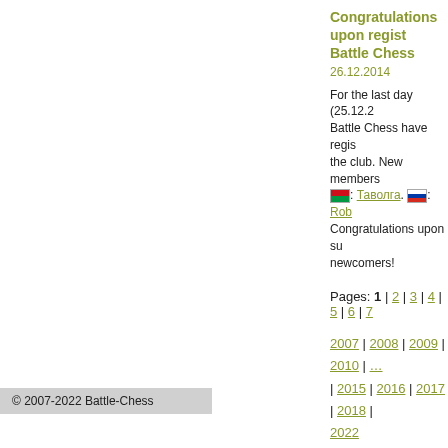Congratulations upon registering in Battle Chess
26.12.2014
For the last day (25.12.2... Battle Chess have registered ... the club. New members: [BY flag]: Таволга. [RU flag]: Rob... Congratulations upon su... newcomers!
Pages: 1 | 2 | 3 | 4 | 5 | 6 | 7
2007 | 2008 | 2009 | 2010 | ... | 2015 | 2016 | 2017 | 2018 | ... | 2022
processing policy
Реклама на сайте: куплю шах...
© 2007-2022 Battle-Chess